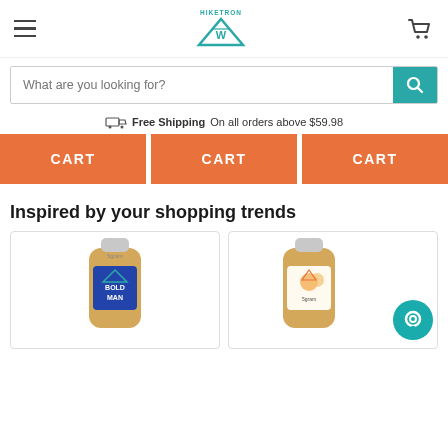HIKETRON — Navigation header with hamburger menu, logo, and cart icon
What are you looking for?
Free Shipping On all orders above $59.98
CART CART CART
Inspired by your shopping trends
[Figure (photo): Product bottle labeled BOLD MAN (5gram brand) — laundry detergent in a tan/gold plastic bottle]
[Figure (photo): Product bottle (5gram brand) with fruit/peach label — laundry detergent in a tan/gold plastic bottle, with teal chat bubble overlay]